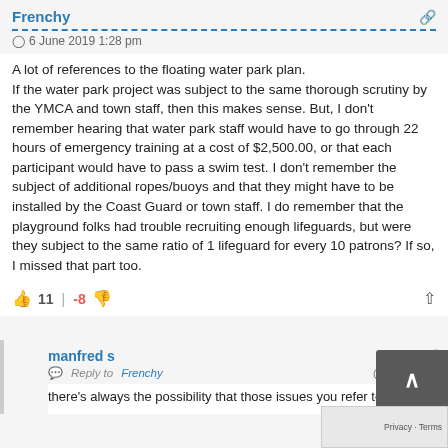Frenchy
6 June 2019 1:28 pm
A lot of references to the floating water park plan. If the water park project was subject to the same thorough scrutiny by the YMCA and town staff, then this makes sense. But, I don't remember hearing that water park staff would have to go through 22 hours of emergency training at a cost of $2,500.00, or that each participant would have to pass a swim test. I don't remember the subject of additional ropes/buoys and that they might have to be installed by the Coast Guard or town staff. I do remember that the playground folks had trouble recruiting enough lifeguards, but were they subject to the same ratio of 1 lifeguard for every 10 patrons? If so, I missed that part too.
11 | -8
manfred s
Reply to Frenchy  6 June 20
there's always the possibility that those issues you refer to